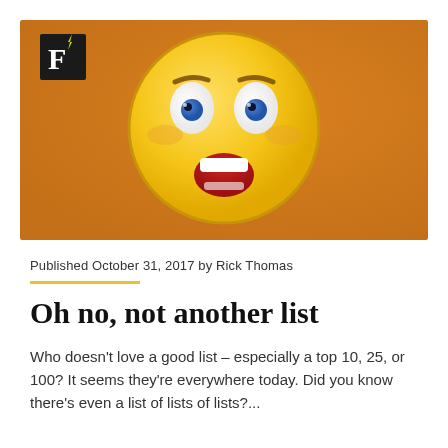[Figure (photo): An emoji face with wide eyes and open mouth expressing shock or fear, on an orange background. A black box with a white 'F' logo with a lightning bolt is in the top-left corner of the image.]
Published October 31, 2017 by Rick Thomas
Oh no, not another list
Who doesn't love a good list – especially a top 10, 25, or 100? It seems they're everywhere today. Did you know there's even a list of lists of lists?...